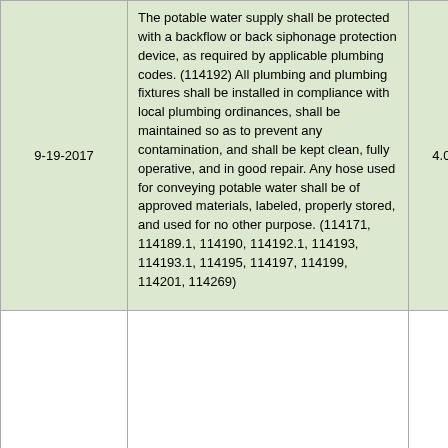| Date | Description | Score | Notes |
| --- | --- | --- | --- |
| 9-19-2017 | The potable water supply shall be protected with a backflow or back siphonage protection device, as required by applicable plumbing codes. (114192) All plumbing and plumbing fixtures shall be installed in compliance with local plumbing ordinances, shall be maintained so as to prevent any contamination, and shall be kept clean, fully operative, and in good repair. Any hose used for conveying potable water shall be of approved materials, labeled, properly stored, and used for no other purpose. (114171, 114189.1, 114190, 114192.1, 114193, 114193.1, 114195, 114197, 114199, 114201, 114269) | 4.00 | All plumb fixtures sh compliance ordinances so as to p contamina clean, full repair. |
|  |  |  | Provide a compartm metal dra compartm facilities s accommo or piece o |